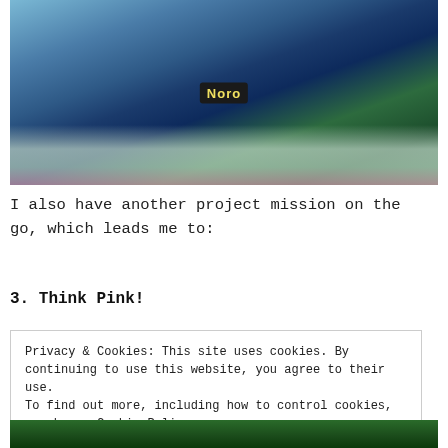[Figure (photo): Photo of blue and green Noro yarn skeins on a mosaic tile table outdoors]
I also have another project mission on the go, which leads me to:
3. Think Pink!
Privacy & Cookies: This site uses cookies. By continuing to use this website, you agree to their use.
To find out more, including how to control cookies, see here: Cookie Policy
[Figure (photo): Partial bottom photo, green plants]